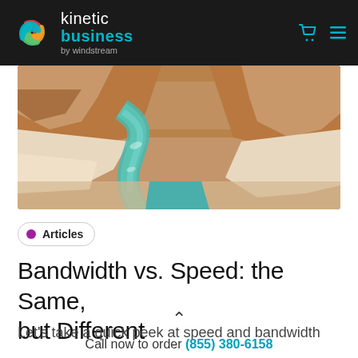kinetic business by windstream
[Figure (photo): Aerial view of a turquoise river winding through rocky canyon terrain with orange and beige rock formations]
Articles
Bandwidth vs. Speed: the Same, but Different
Let's take a quick peek at speed and bandwidth
Call now to order (855) 380-6158